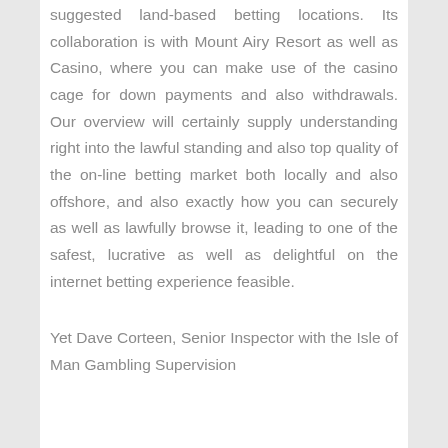suggested land-based betting locations. Its collaboration is with Mount Airy Resort as well as Casino, where you can make use of the casino cage for down payments and also withdrawals. Our overview will certainly supply understanding right into the lawful standing and also top quality of the on-line betting market both locally and also offshore, and also exactly how you can securely as well as lawfully browse it, leading to one of the safest, lucrative as well as delightful on the internet betting experience feasible.
Yet Dave Corteen, Senior Inspector with the Isle of Man Gambling Supervision